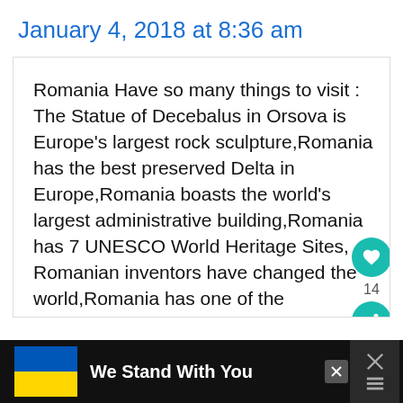January 4, 2018 at 8:36 am
Romania Have so many things to visit : The Statue of Decebalus in Orsova is Europe's largest rock sculpture,Romania has the best preserved Delta in Europe,Romania boasts the world's largest administrative building,Romania has 7 UNESCO World Heritage Sites, Romanian inventors have changed the world,Romania has one of the
[Figure (infographic): Advertisement banner: Ukrainian flag (blue and yellow) on the left with bold white text 'We Stand With You' on black background, with close buttons on the right.]